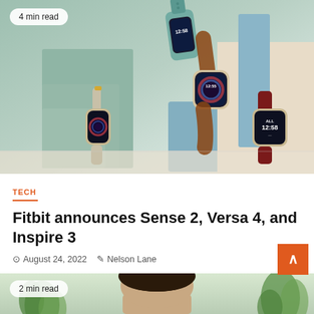[Figure (photo): Product photo of multiple Fitbit smartwatches (Sense 2, Versa 4, Inspire 3) arranged on colorful geometric props with a '4 min read' badge in the top-left corner]
TECH
Fitbit announces Sense 2, Versa 4, and Inspire 3
August 24, 2022   Nelson Lane
[Figure (photo): Partial photo of a person with dark hair with plants visible, with a '2 min read' badge in the top-left corner]